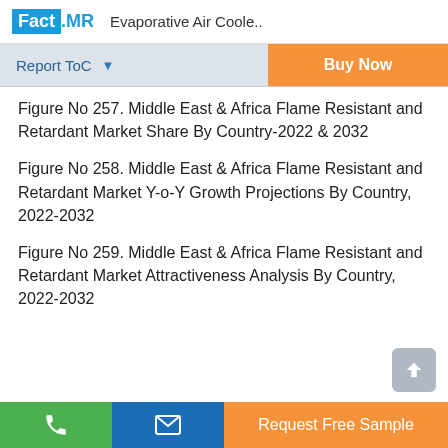Fact.MR  Evaporative Air Coole..
Figure No 257. Middle East & Africa Flame Resistant and Retardant Market Share By Country-2022 & 2032
Figure No 258. Middle East & Africa Flame Resistant and Retardant Market Y-o-Y Growth Projections By Country, 2022-2032
Figure No 259. Middle East & Africa Flame Resistant and Retardant Market Attractiveness Analysis By Country, 2022-2032
Request Free Sample